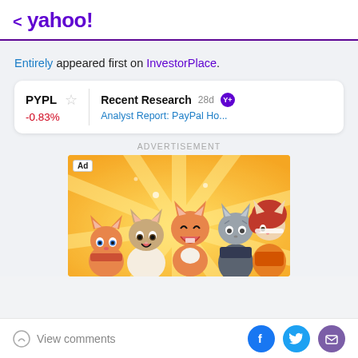< yahoo!
Entirely appeared first on InvestorPlace.
| Ticker | Change | Research | Days | Link |
| --- | --- | --- | --- | --- |
| PYPL | -0.83% | Recent Research | 28d | Analyst Report: PayPal Ho... |
ADVERTISEMENT
[Figure (illustration): Advertisement banner with cartoon cat characters on a golden sunburst background. Five stylized anime cats with different outfits and expressions. Ad badge in top-left corner.]
View comments | Facebook | Twitter | Email